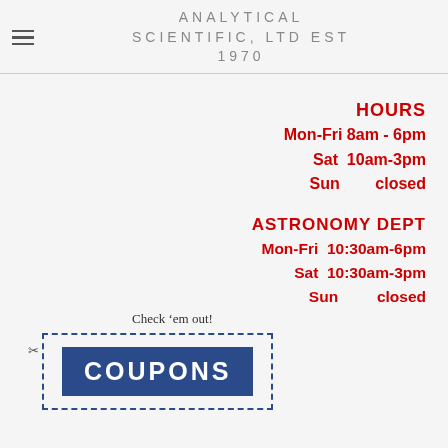ANALYTICAL SCIENTIFIC, LTD EST 1970
HOURS
Mon-Fri 8am - 6pm
Sat 10am-3pm
Sun closed
ASTRONOMY DEPT
Mon-Fri 10:30am-6pm
Sat 10:30am-3pm
Sun closed
[Figure (illustration): Coupon graphic with scissors, dashed border box containing blue rectangle with white bold text COUPONS, and handwritten annotation 'Check 'em out!']